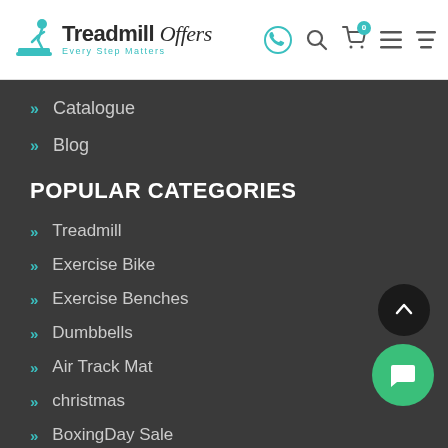[Figure (logo): Treadmill Offers logo with running person on treadmill icon, bold text 'Treadmill Offers' and tagline 'Every Step Matters']
» Catalogue
» Blog
POPULAR CATEGORIES
» Treadmill
» Exercise Bike
» Exercise Benches
» Dumbbells
» Air Track Mat
» christmas
» BoxingDay Sale
» Black Friday
» Cyber Monday